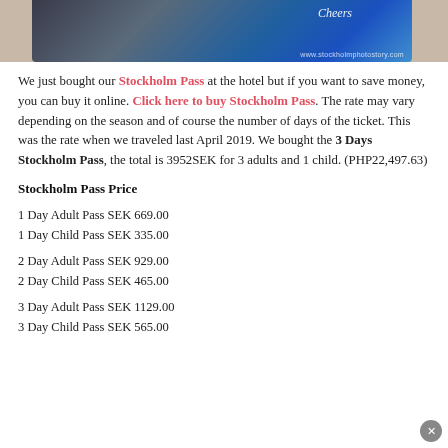[Figure (photo): Partial view of a Stockholm Pass card with blue background and website URL www.stockholmphotostory.com visible]
We just bought our Stockholm Pass at the hotel but if you want to save money, you can buy it online. Click here to buy Stockholm Pass. The rate may vary depending on the season and of course the number of days of the ticket. This was the rate when we traveled last April 2019. We bought the 3 Days Stockholm Pass, the total is 3952SEK for 3 adults and 1 child. (PHP22,497.63)
Stockholm Pass Price
1 Day Adult Pass SEK 669.00
1 Day Child Pass SEK 335.00
2 Day Adult Pass SEK 929.00
2 Day Child Pass SEK 465.00
3 Day Adult Pass SEK 1129.00
3 Day Child Pass SEK 565.00